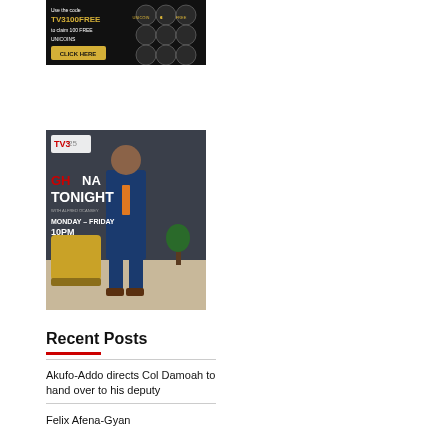[Figure (screenshot): Dark advertisement banner with text 'Use the code TV3100FREE to claim 100 FREE UNICOINS' and a 'CLICK HERE' button, with coin graphics.]
[Figure (photo): Ghana Tonight show promotional image with a man in a blue suit, text reads 'GHANA TONIGHT with Alfred Ocansey MONDAY - FRIDAY 10PM', TV3 logo with '25' visible.]
Recent Posts
Akufo-Addo directs Col Damoah to hand over to his deputy
Felix Afena-Gyan